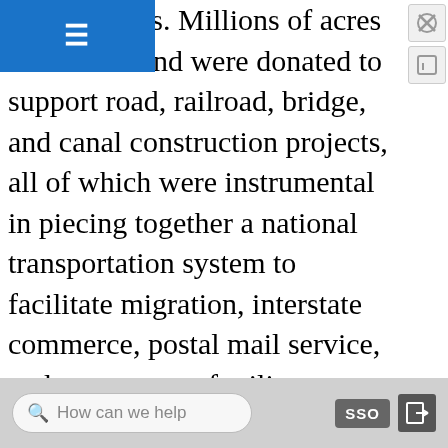ted the states. Millions of acres of federal land were donated to support road, railroad, bridge, and canal construction projects, all of which were instrumental in piecing together a national transportation system to facilitate migration, interstate commerce, postal mail service, and movement of military people and equipment. Numerous universities and colleges across the country, such as Ohio State University and the University of Maine, are land-grant institutions because their campuses were built on land donated by the federal government. At the turn of the twentieth century, cash grants replaced land grants as the main form of federal intergovernmental transfers and have become a central part of modern federalism.
How can we help  SSO